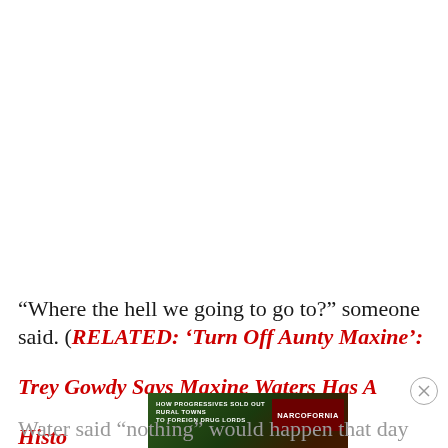“Where the hell we going to go to?” someone said. (RELATED: ‘Turn Off Aunty Maxine’: Trey Gowdy Says Maxine Waters Has A History of...
[Figure (screenshot): Advertisement banner: HOW PROGRESSIVES SOLD OUT RURAL TOWNS TO FOREIGN DRUG LORDS - NARCOFORNIA - WATCH NOW button]
Water said “nothing” would happen that day and